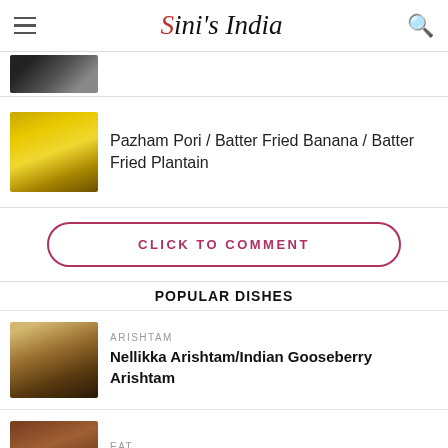Sini's India
[Figure (photo): Partial thumbnail of a dish from a previous article listing]
Pazham Pori / Batter Fried Banana / Batter Fried Plantain
CLICK TO COMMENT
POPULAR DISHES
ARISHTAM
Nellikka Arishtam/Indian Gooseberry Arishtam
EAT
Kallumakkaya Achar / Mussels Pickle